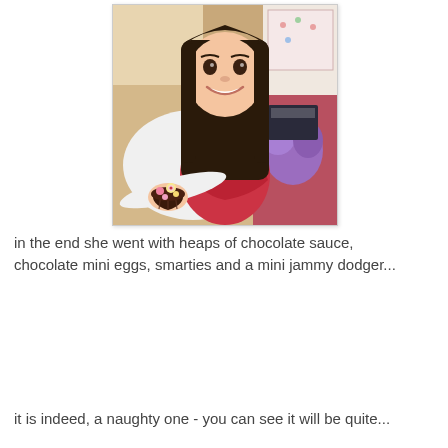[Figure (photo): A young girl with long dark hair, smiling and wearing a white cardigan over a red dress, holding a chocolate cupcake decorated with mini eggs and a mini jammy dodger biscuit. She is in an indoor setting with items visible in the background including a purple fluffy toy and boxes.]
in the end she went with heaps of chocolate sauce, chocolate mini eggs, smarties and a mini jammy dodger...
it is indeed, a naughty one - you can see it will be quite...